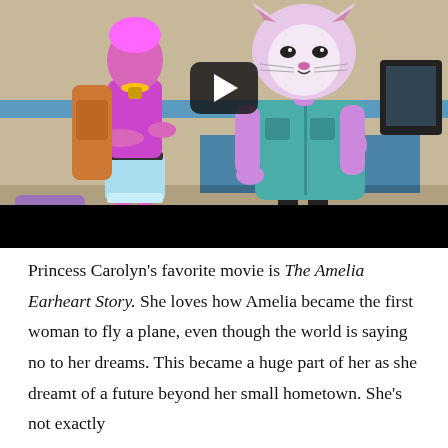[Figure (illustration): Animated scene showing two anthropomorphic characters in what appears to an airport setting. On the left is a female character with pink skin in a magenta top and light blue shorts with a backpack and luggage. On the right is a larger cat-faced character with pink/lavender fur wearing a teal button-up shirt. There is a YouTube-style play button overlay in the center. The bottom portion of the frame is black (video letterbox).]
Princess Carolyn's favorite movie is The Amelia Earheart Story. She loves how Amelia became the first woman to fly a plane, even though the world is saying no to her dreams. This became a huge part of her as she dreamt of a future beyond her small hometown. She's not exactly